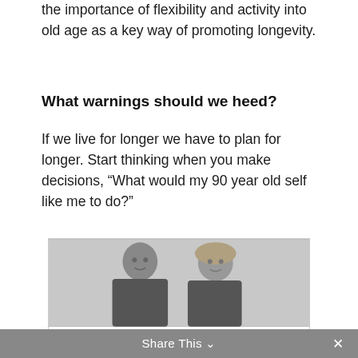the importance of flexibility and activity into old age as a key way of promoting longevity.
What warnings should we heed?
If we live for longer we have to plan for longer. Start thinking when you make decisions, “What would my 90 year old self like me to do?”
[Figure (photo): Black and white photograph of Authors Lynda Gratton and Andrew Scott, a man and a woman standing side by side against a light background.]
Authors Lynda Gratton and Andrew Scott
Share This